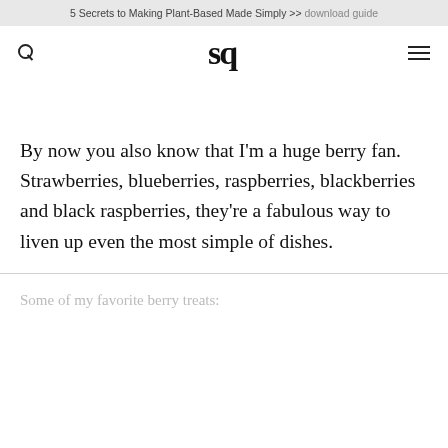5 Secrets to Making Plant-Based Made Simply >> download guide
sq
By now you also know that I'm a huge berry fan. Strawberries, blueberries, raspberries, blackberries and black raspberries, they're a fabulous way to liven up even the most simple of dishes.
Some of my favorite berry treats: